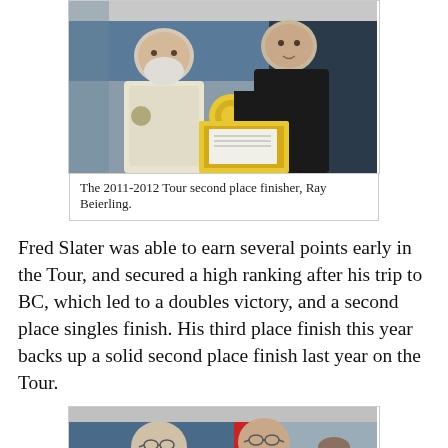[Figure (photo): Two men posing indoors; one in a light shirt holding a yellow medallion/trophy, the other in a black shirt. Background shows blue wall and equipment.]
The 2011-2012 Tour second place finisher, Ray Beierling.
Fred Slater was able to earn several points early in the Tour, and secured a high ranking after his trip to BC, which led to a doubles victory, and a second place singles finish. His third place finish this year backs up a solid second place finish last year on the Tour.
[Figure (photo): Two men indoors holding papers/certificates; one older man with white beard on left, another with glasses on right smiling. A third person visible in background.]